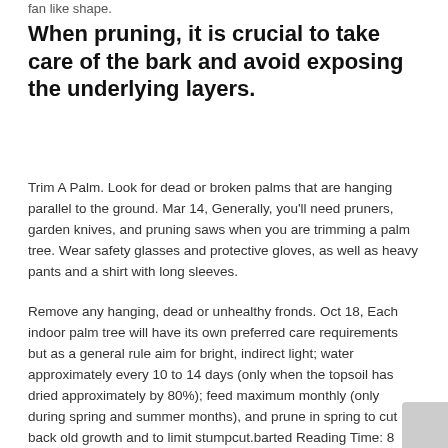fan like shape.
When pruning, it is crucial to take care of the bark and avoid exposing the underlying layers.
Trim A Palm. Look for dead or broken palms that are hanging parallel to the ground. Mar 14, Generally, you'll need pruners, garden knives, and pruning saws when you are trimming a palm tree. Wear safety glasses and protective gloves, as well as heavy pants and a shirt with long sleeves.
Remove any hanging, dead or unhealthy fronds. Oct 18, Each indoor palm tree will have its own preferred care requirements but as a general rule aim for bright, indirect light; water approximately every 10 to 14 days (only when the topsoil has dried approximately by 80%); feed maximum monthly (only during spring and summer months), and prune in spring to cut back old growth and to limit stumpcut.barted Reading Time: 8 mins.